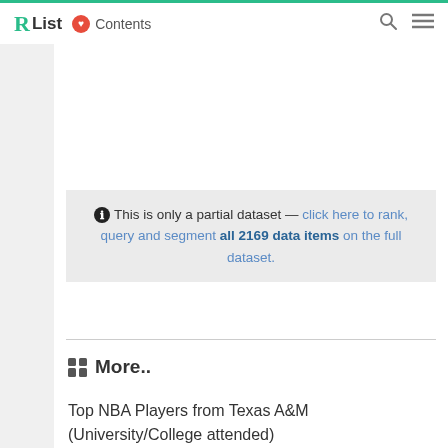R List Contents
This is only a partial dataset — click here to rank, query and segment all 2169 data items on the full dataset.
More..
Top NBA Players from Texas A&M (University/College attended)
Khris Middleton.